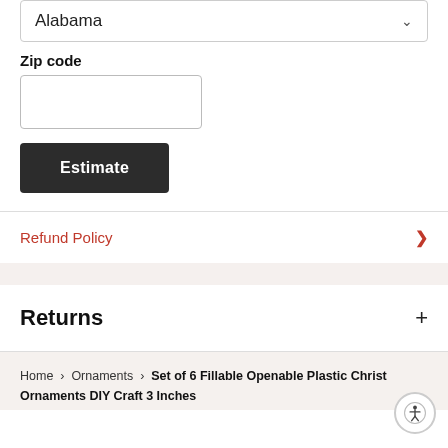Alabama
Zip code
Estimate
Refund Policy
Returns
Home › Ornaments › Set of 6 Fillable Openable Plastic Christmas Ornaments DIY Craft 3 Inches